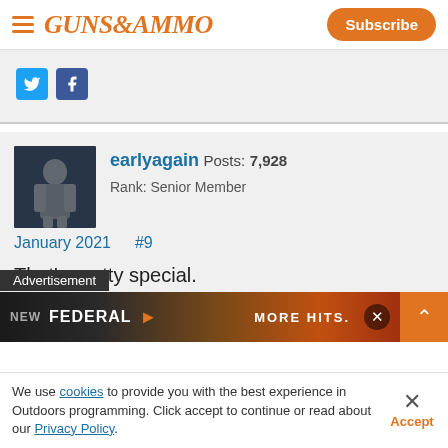GUNS&AMMO | Subscribe
[Figure (screenshot): Social share icons: Twitter (blue bird icon) and Facebook (blue f icon)]
[Figure (photo): User avatar: person in dark outdoor/winter setting]
earlyagain Posts: 7,928 Rank: Senior Member
January 2021  #9
That's pretty special.
Th... fer in... that pic that seems far...
[Figure (screenshot): Advertisement overlay: NEW FEDERAL (logo with arrow) MORE HITS. with close and expand buttons]
We use cookies to provide you with the best experience in Outdoors programming. Click accept to continue or read about our Privacy Policy.